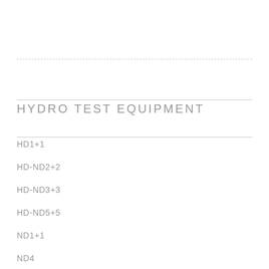HYDRO TEST EQUIPMENT
HD1+1
HD-ND2+2
HD-ND3+3
HD-ND5+5
ND1+1
ND4
ND-TR4